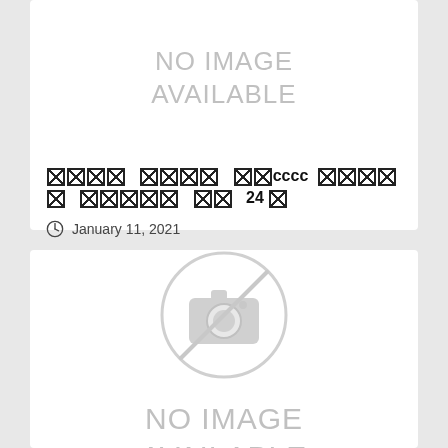[Figure (other): Top card with NO IMAGE AVAILABLE placeholder text in gray]
󿿽󿿽󿿽󿿽 󿿽󿿽󿿽󿿽 󿿽󿿽cccc 󿿽󿿽󿿽󿿽󿿽 󿿽󿿽󿿽󿿽󿿽 󿿽󿿽 24󿿽
January 11, 2021
[Figure (other): Bottom card with camera icon placeholder and NO IMAGE AVAILABLE text in gray]